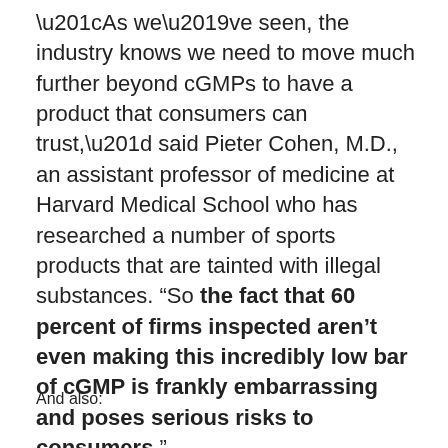“As we’ve seen, the industry knows we need to move much further beyond cGMPs to have a product that consumers can trust,” said Pieter Cohen, M.D., an assistant professor of medicine at Harvard Medical School who has researched a number of sports products that are tainted with illegal substances. “So the fact that 60 percent of firms inspected aren’t even making this incredibly low bar of cGMP is frankly embarrassing and poses serious risks to consumers.”
And also: